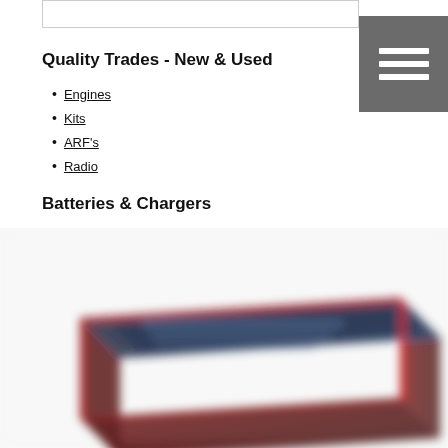Quality Trades - New & Used
Engines
Kits
ARF's
Radio
Batteries & Chargers
[Figure (photo): A blurred photo of a battery pack - dark navy blue and red colored RC battery pack photographed at an angle]